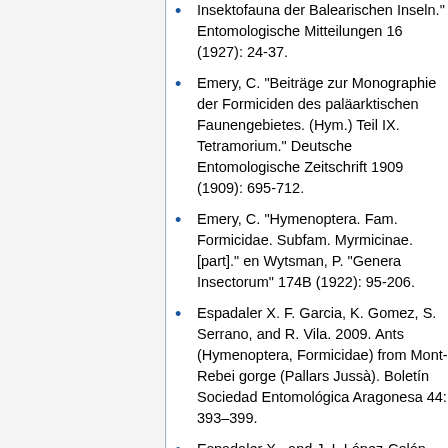Insektofauna der Balearischen Inseln." Entomologische Mitteilungen 16 (1927): 24-37.
Emery, C. "Beiträge zur Monographie der Formiciden des paläarktischen Faunengebietes. (Hym.) Teil IX. Tetramorium." Deutsche Entomologische Zeitschrift 1909 (1909): 695-712.
Emery, C. "Hymenoptera. Fam. Formicidae. Subfam. Myrmicinae. [part]." en Wytsman, P. "Genera Insectorum" 174B (1922): 95-206.
Espadaler X. F. Garcia, K. Gomez, S. Serrano, and R. Vila. 2009. Ants (Hymenoptera, Formicidae) from Mont-Rebei gorge (Pallars Jussà). Boletín Sociedad Entomológica Aragonesa 44: 393–399.
Espadaler X., and J. I. López-Colón. 2011. Hormigas (Hymenoptera...